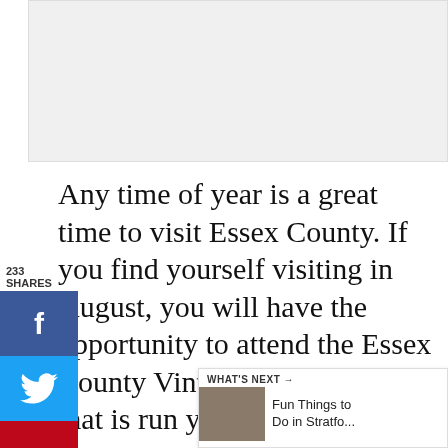[Figure (photo): Top image placeholder, light gray rectangle representing a cropped photo at top of article]
Any time of year is a great time to visit Essex County. If you find yourself visiting in August, you will have the opportunity to attend the Essex County Vintage Tasting event that is run yearly by the wineries.

We decided to head to Essex County for the 25th Vintage Tasting event. What better way to taste all the region's wines than under one roof. The Vintage Tasting Event was a
[Figure (infographic): Social sharing sidebar with 233 shares count, Facebook (blue), Twitter (blue), and Pinterest (red) share buttons on left side]
[Figure (infographic): Heart/save button (teal circle) and share icon with count 234 on right side]
[Figure (infographic): What's Next widget: thumbnail of building, text 'Fun Things to Do in Stratfo...']